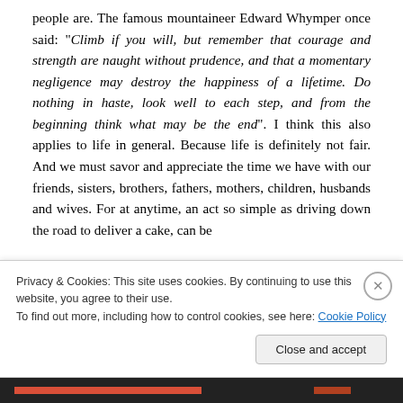people are.  The famous mountaineer Edward Whymper once said:  "Climb if you will, but remember that courage and strength are naught without prudence, and that a momentary negligence may destroy the happiness of a lifetime. Do nothing in haste, look well to each step, and from the beginning think what may be the end".  I think this also applies to life in general.   Because life is definitely not fair.   And we must savor and appreciate the time we have with our friends, sisters, brothers, fathers, mothers, children, husbands and wives.  For at anytime, an act so simple as driving down the road to deliver a cake, can be
Privacy & Cookies: This site uses cookies. By continuing to use this website, you agree to their use.
To find out more, including how to control cookies, see here: Cookie Policy
Close and accept